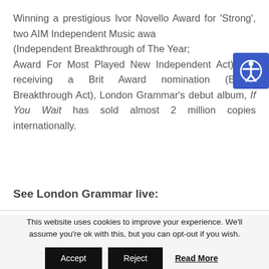Winning a prestigious Ivor Novello Award for 'Strong', two AIM Independent Music awards (Independent Breakthrough of The Year; Award For Most Played New Independent Act) and receiving a Brit Award nomination (British Breakthrough Act), London Grammar's debut album, If You Wait has sold almost 2 million copies internationally.
See London Grammar live:
This website uses cookies to improve your experience. We'll assume you're ok with this, but you can opt-out if you wish.